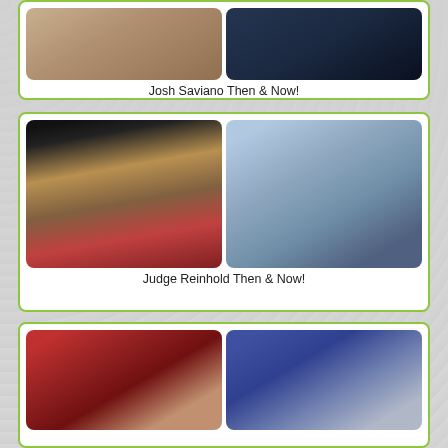[Figure (photo): Josh Saviano Then & Now - two side by side photos, one from youth and one recent]
Josh Saviano Then & Now!
[Figure (photo): Judge Reinhold Then & Now - two side by side photos, one in pirate costume and one recent]
Judge Reinhold Then & Now!
[Figure (photo): Tiger Woods Then & Now - two side by side photos, one with young daughter and one recent at sporting event]